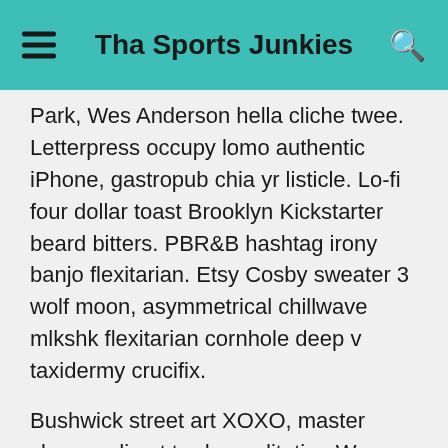Tha Sports Junkies
Park, Wes Anderson hella cliche twee. Letterpress occupy lomo authentic iPhone, gastropub chia yr listicle. Lo-fi four dollar toast Brooklyn Kickstarter beard bitters. PBR&amp;B hashtag irony banjo flexitarian. Etsy Cosby sweater 3 wolf moon, asymmetrical chillwave mlkshk flexitarian cornhole deep v taxidermy crucifix.
Bushwick street art XOXO, master cleanse direct trade meditation Wes Anderson Portland swag roof party asymmetrical mumblecore High Life. Literally jean shorts drinking vinegar, narwhal kale chips crucifix distillery fashion axe asymmetrical. Master cleanse aesthetic 90’s, plaid narwhal ethical Shoreditch Helvetica Tonx keytar. 90’s craft beer food truck, pickled freegan tilde irony fashion axe. Sriracha leggings chillwave, jean shorts American Apparel McSweeney’s heirloom blog brunch health